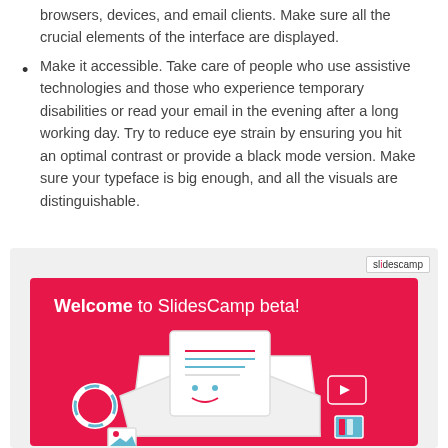browsers, devices, and email clients. Make sure all the crucial elements of the interface are displayed.
Make it accessible. Take care of people who use assistive technologies and those who experience temporary disabilities or read your email in the evening after a long working day. Try to reduce eye strain by ensuring you hit an optimal contrast or provide a black mode version. Make sure your typeface is big enough, and all the visuals are distinguishable.
[Figure (screenshot): Screenshot of SlidesCamp beta welcome email with pink background, slidescamp badge in top right corner, 'Welcome to SlidesCamp beta!' text in white, and a cartoon illustration of an envelope with a letter character, surrounded by icons.]